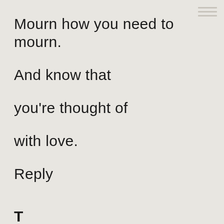Mourn how you need to mourn.
And know that
you're thought of
with love.
Reply
T